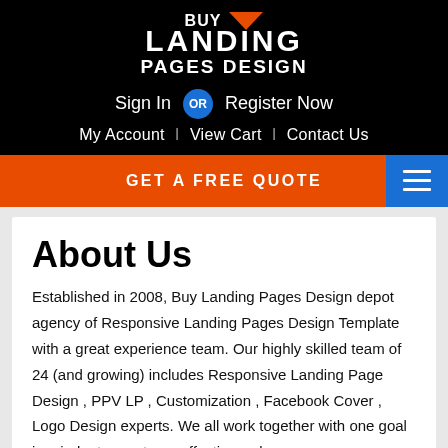BUY LANDING PAGES DESIGN
Sign In  OR  Register Now
My Account  |  View Cart  |  Contact Us
GET A FREE QUOTE
About Us
Established in 2008, Buy Landing Pages Design depot agency of Responsive Landing Pages Design Template with a great experience team. Our highly skilled team of 24 (and growing) includes Responsive Landing Page Design , PPV LP , Customization , Facebook Cover , Logo Design experts. We all work together with one goal in mind – to create an effective web